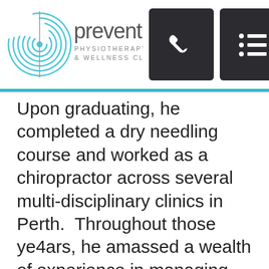[Figure (logo): Prevent Physiotherapy & Wellness Clinic logo with circular wave graphic and wordmark]
[Figure (illustration): Dark square button with white telephone handset icon]
[Figure (illustration): Dark square button with white horizontal lines/menu icon]
Upon graduating, he completed a dry needling course and worked as a chiropractor across several multi-disciplinary clinics in Perth.  Throughout those ye4ars, he amassed a wealth of experience in managing musculoskeletal and neuromuscular disorders in people from all walks of life.  In